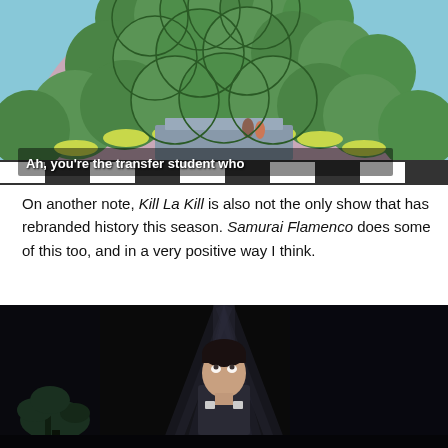[Figure (screenshot): Anime screenshot from Kill La Kill showing a large figure with green scale-like feathers/hair and pink/mauve body, with two small characters visible below under an archway structure. Subtitle reads: Ah, you're the transfer student who]
On another note, Kill La Kill is also not the only show that has rebranded history this season. Samurai Flamenco does some of this too, and in a very positive way I think.
[Figure (screenshot): Dark screenshot from Samurai Flamenco showing a young man looking upward in a dimly lit room with a plant visible in the lower left.]